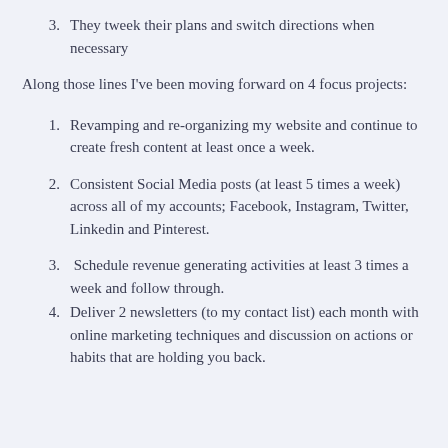3. They tweek their plans and switch directions when necessary
Along those lines I've been moving forward on 4 focus projects:
1. Revamping and re-organizing my website and continue to create fresh content at least once a week.
2. Consistent Social Media posts (at least 5 times a week) across all of my accounts; Facebook, Instagram, Twitter, Linkedin and Pinterest.
3. Schedule revenue generating activities at least 3 times a week and follow through.
4. Deliver 2 newsletters (to my contact list) each month with online marketing techniques and discussion on actions or habits that are holding you back.